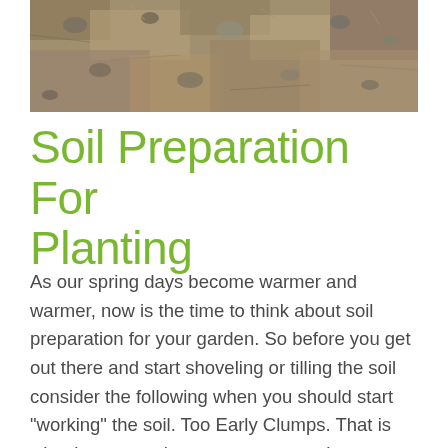[Figure (photo): Close-up photograph of dry, rough garden soil with small clumps and pebbles, in shades of grey-brown and tan.]
Soil Preparation For Planting
As our spring days become warmer and warmer, now is the time to think about soil preparation for your garden. So before you get out there and start shoveling or tilling the soil consider the following when you should start "working" the soil. Too Early Clumps. That is what happens when you start to work